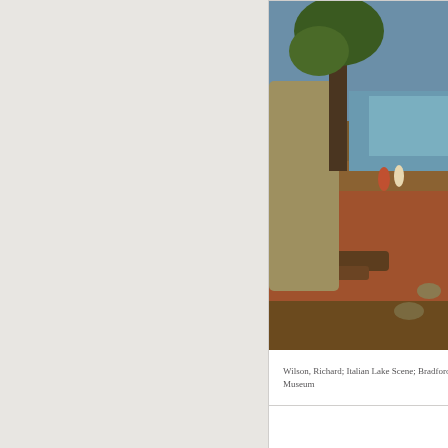[Figure (photo): Painting: Richard Wilson, Italian Lake Scene. A landscape oil painting showing figures by a rocky shoreline with trees, warm earthy tones, water and sky in the background.]
Wilson, Richard; Italian Lake Scene; Bradford Museum
[Figure (photo): Painting showing Mediterranean or Southern European whitewashed buildings with flat rooftops under a blue sky with clouds.]